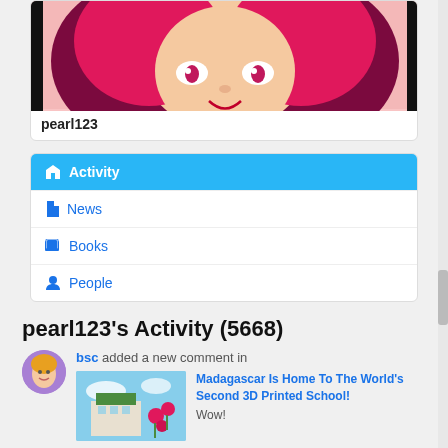[Figure (illustration): Cartoon anime-style girl with hot pink/magenta hair against a pink background, showing face and hair cropped at top]
pearl123
Activity
News
Books
People
pearl123's Activity (5668)
bsc added a new comment in
[Figure (photo): Photo of a building with colorful flowers and blue sky]
Madagascar Is Home To The World's Second 3D Printed School!
Wow!